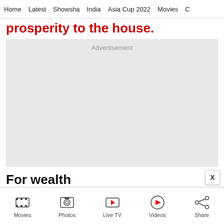Home  Latest  Showsha  India  Asia Cup 2022  Movies  C
prosperity to the house.
[Figure (other): Advertisement placeholder box]
For wealth
Movies  Photos  Live TV  Videos  Share